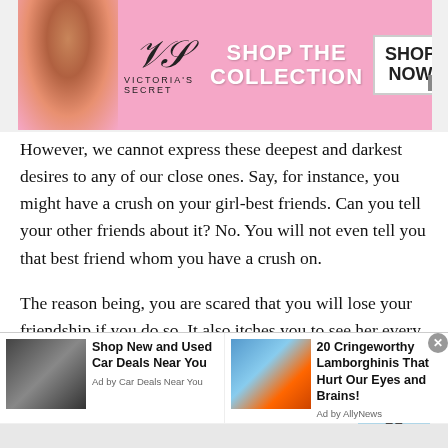[Figure (screenshot): Victoria's Secret advertisement banner with model, VS logo, 'SHOP THE COLLECTION' text, and 'SHOP NOW' button]
However, we cannot express these deepest and darkest desires to any of our close ones. Say, for instance, you might have a crush on your girl-best friends. Can you tell your other friends about it? No. You will not even tell you that best friend whom you have a crush on.
The reason being, you are scared that you will lose your friendship if you do so. It also itches you to see her every day and not express your feelings to her.
In this case, when you cannot talk to any of your
[Figure (screenshot): Bottom advertisement bar with two ads: 'Shop New and Used Car Deals Near You' (Ad by Car Deals Near You) showing a black SUV, and '20 Cringeworthy Lamborghinis That Hurt Our Eyes and Brains!' (Ad by AllyNews) showing a colorful sports car]